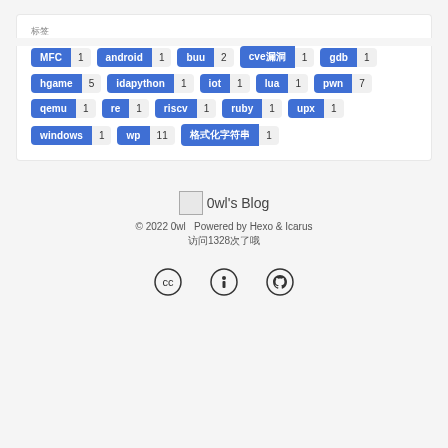标签
MFC 1
android 1
buu 2
cve漏洞 1
gdb 1
hgame 5
idapython 1
iot 1
lua 1
pwn 7
qemu 1
re 1
riscv 1
ruby 1
upx 1
windows 1
wp 11
格式化字符串 1
0wl's Blog
© 2022 0wl  Powered by Hexo & Icarus  访问1328次了哦
[Figure (other): CC license icon, attribution icon, GitHub icon]